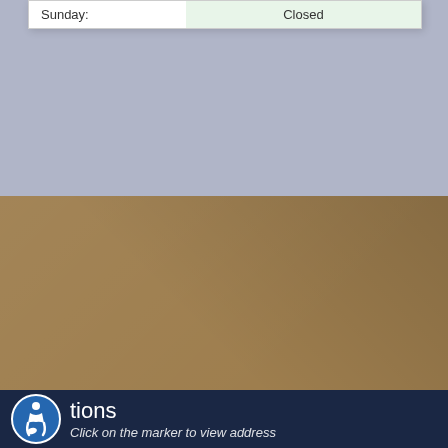| Day | Hours |
| --- | --- |
| Sunday: | Closed |
Services
We strive to provide complete care for our patients. Learn more about all the services we provide.
tions
Click on the marker to view address